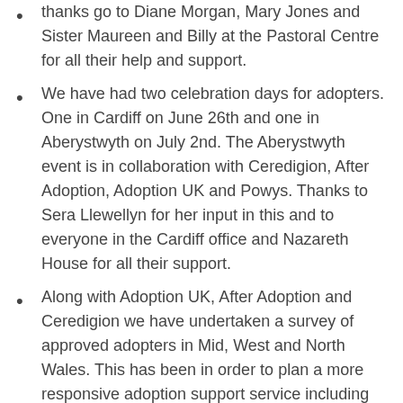thanks go to Diane Morgan, Mary Jones and Sister Maureen and Billy at the Pastoral Centre for all their help and support.
We have had two celebration days for adopters. One in Cardiff on June 26th and one in Aberystwyth on July 2nd. The Aberystwyth event is in collaboration with Ceredigion, After Adoption, Adoption UK and Powys. Thanks to Sera Llewellyn for her input in this and to everyone in the Cardiff office and Nazareth House for all their support.
Along with Adoption UK, After Adoption and Ceredigion we have undertaken a survey of approved adopters in Mid, West and North Wales. This has been in order to plan a more responsive adoption support service including groups, so if you haven't contributed and would like to do so please let contact us either via the website or by email. (www.info@stdavidscs.org email